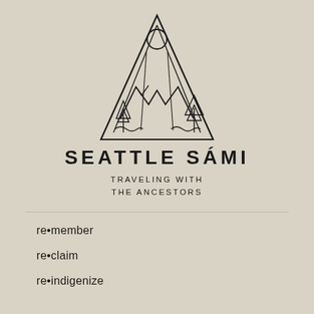[Figure (logo): Triangular geometric logo with mountain peaks, a sun/circle at top, trees, and cloud elements rendered in thin black lines on a beige background]
SEATTLE SÁMI
TRAVELING WITH THE ANCESTORS
re•member
re•claim
re•indigenize